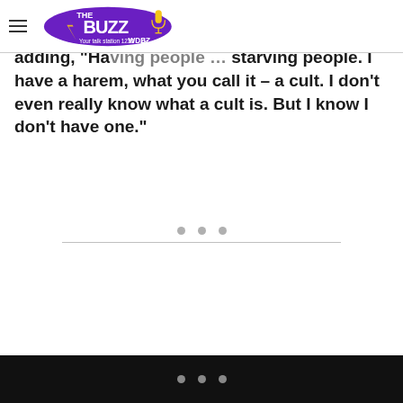THE BUZZ WDBZ Your talk station 1230am
house trying to rescue someone that doesn't need rescuing and ... my house," he said, adding, "Having people ... starving people. I have a harem, what you call it – a cult. I don't even really know what a cult is. But I know I don't have one."